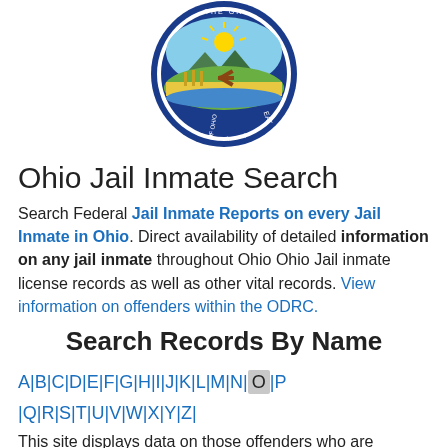[Figure (logo): Great Seal of Ohio - circular blue border with state seal imagery including mountains, sun, wheat, and arrows]
Ohio Jail Inmate Search
Search Federal Jail Inmate Reports on every Jail Inmate in Ohio. Direct availability of detailed information on any jail inmate throughout Ohio Ohio Jail inmate license records as well as other vital records. View information on offenders within the ODRC.
Search Records By Name
A|B|C|D|E|F|G|H|I|J|K|L|M|N|O|P|Q|R|S|T|U|V|W|X|Y|Z|
This site displays data on those offenders who are